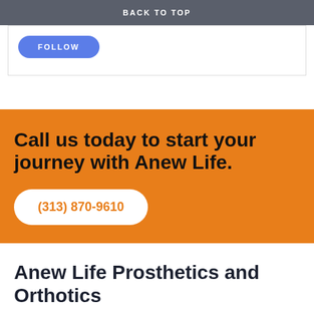BACK TO TOP
[Figure (other): White box with a blue FOLLOW button]
Call us today to start your journey with Anew Life.
(313) 870-9610
Anew Life Prosthetics and Orthotics